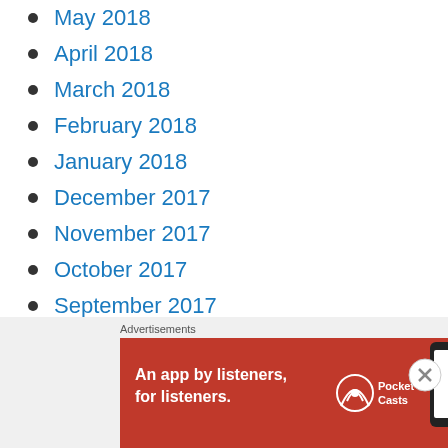May 2018
April 2018
March 2018
February 2018
January 2018
December 2017
November 2017
October 2017
September 2017
August 2017
July 2017
June 2017
May 2017
April 2017
Advertisements
[Figure (other): Pocket Casts advertisement banner: red background with text 'An app by listeners, for listeners.' and Pocket Casts logo]